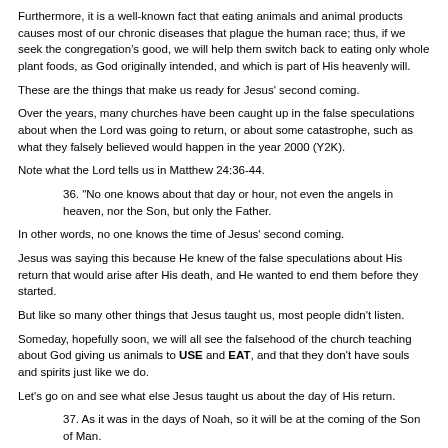Furthermore, it is a well-known fact that eating animals and animal products causes most of our chronic diseases that plague the human race; thus, if we seek the congregation's good, we will help them switch back to eating only whole plant foods, as God originally intended, and which is part of His heavenly will.
These are the things that make us ready for Jesus' second coming.
Over the years, many churches have been caught up in the false speculations about when the Lord was going to return, or about some catastrophe, such as what they falsely believed would happen in the year 2000 (Y2K).
Note what the Lord tells us in Matthew 24:36-44.
36. "No one knows about that day or hour, not even the angels in heaven, nor the Son, but only the Father.
In other words, no one knows the time of Jesus' second coming.
Jesus was saying this because He knew of the false speculations about His return that would arise after His death, and He wanted to end them before they started.
But like so many other things that Jesus taught us, most people didn't listen.
Someday, hopefully soon, we will all see the falsehood of the church teaching about God giving us animals to USE and EAT, and that they don't have souls and spirits just like we do.
Let's go on and see what else Jesus taught us about the day of His return.
37. As it was in the days of Noah, so it will be at the coming of the Son of Man.